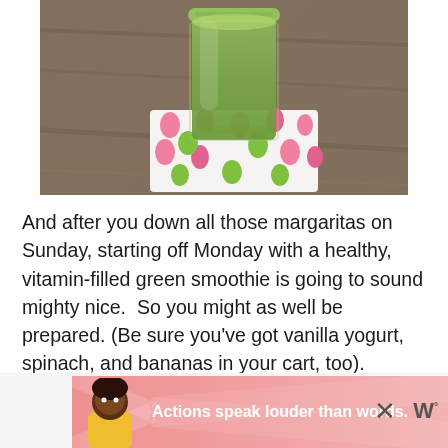[Figure (photo): Overhead photo of a green smoothie in a mason jar, sitting on a colorful pink and green polka-dot napkin on a wooden surface.]
And after you down all those margaritas on Sunday, starting off Monday with a healthy, vitamin-filled green smoothie is going to sound mighty nice.  So you might as well be prepared. (Be sure you've got vanilla yogurt, spinach, and bananas in your cart, too).
[Figure (other): Advertisement banner: pink/coral background with a person illustration on the left and bold white text 'Actions speak louder than words.' Close button visible.]